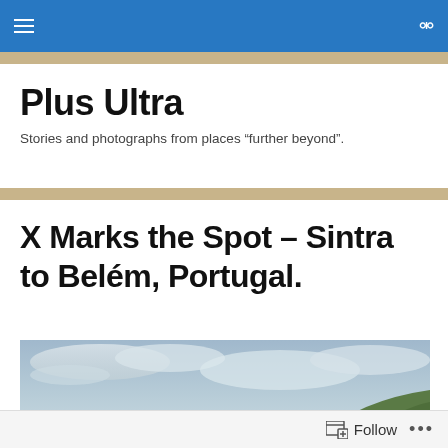Plus Ultra — navigation bar with hamburger menu and search icon
Plus Ultra
Stories and photographs from places “further beyond”.
X Marks the Spot – Sintra to Belém, Portugal.
[Figure (photo): Outdoor landscape photograph showing a cloudy sky with a greenish hillside at lower right, taken in Portugal.]
Follow   …